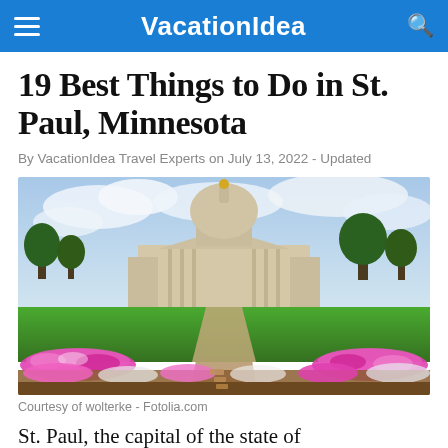VacationIdea
19 Best Things to Do in St. Paul, Minnesota
By VacationIdea Travel Experts on July 13, 2022 - Updated
[Figure (photo): Photo of the Minnesota State Capitol building in St. Paul with colorful flower gardens in the foreground and cloudy sky above]
Courtesy of wolterke - Fotolia.com
St. Paul, the capital of the state of